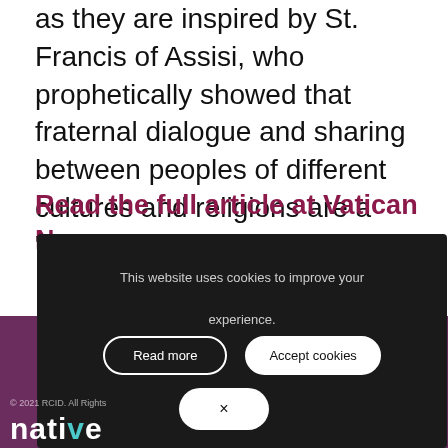as they are inspired by St. Francis of Assisi, who prophetically showed that fraternal dialogue and sharing between peoples of different cultures and religions are a “viable prospect”.
Read the full article at Vatican News.
This website uses cookies to improve your experience.
Read more
Accept cookies
×
© 2021 RCID. All Rights Reserved.
native